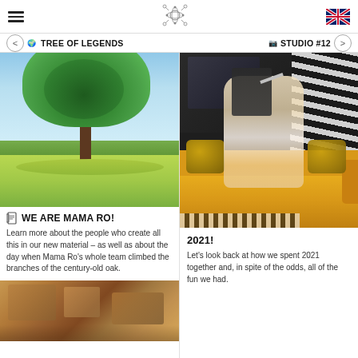TREE OF LEGENDS   STUDIO #12
[Figure (photo): Large green tree in a sunny field with blue sky background]
WE ARE MAMA RO!
Learn more about the people who create all this in our new material – as well as about the day when Mama Ro's whole team climbed the branches of the century-old oak.
[Figure (photo): Woman in white dress sitting on yellow sofa reading a book with illustrated cover, zebra print decor in background]
2021!
Let's look back at how we spent 2021 together and, in spite of the odds, all of the fun we had.
[Figure (photo): Partial view of a flat lay or tabletop with books and items]